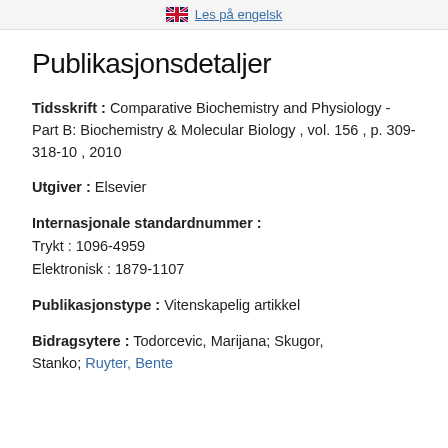Les på engelsk
Publikasjonsdetaljer
Tidsskrift : Comparative Biochemistry and Physiology - Part B: Biochemistry & Molecular Biology , vol. 156 , p. 309-318-10 , 2010
Utgiver : Elsevier
Internasjonale standardnummer : Trykt : 1096-4959 Elektronisk : 1879-1107
Publikasjonstype : Vitenskapelig artikkel
Bidragsytere : Todorcevic, Marijana; Skugor, Stanko; Ruyter, Bente